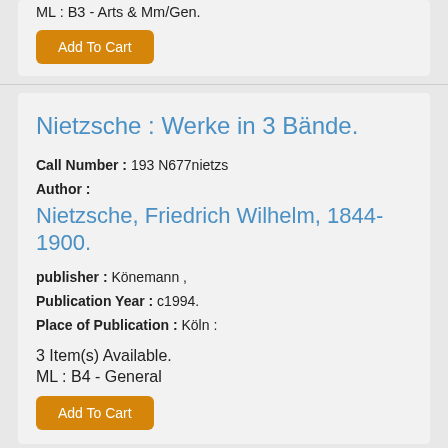ML : B3 - Arts & Mm/Gen.
Add To Cart
Nietzsche : Werke in 3 Bände.
Call Number : 193 N677nietzs
Author :
Nietzsche, Friedrich Wilhelm, 1844-1900.
publisher : Könemann ,
Publication Year : c1994.
Place of Publication : Köln :
3 Item(s) Available.
ML : B4 - General
Add To Cart